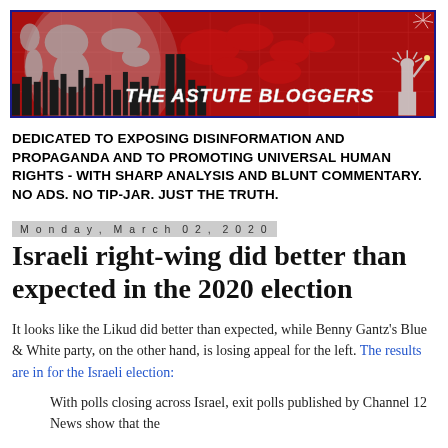[Figure (illustration): The Astute Bloggers banner with red background, globe graphic, world map, city skyline silhouette, and Statue of Liberty. White italic bold text reads: THE ASTUTE BLOGGERS]
DEDICATED TO EXPOSING DISINFORMATION AND PROPAGANDA AND TO PROMOTING UNIVERSAL HUMAN RIGHTS - WITH SHARP ANALYSIS AND BLUNT COMMENTARY. NO ADS. NO TIP-JAR. JUST THE TRUTH.
Monday, March 02, 2020
Israeli right-wing did better than expected in the 2020 election
It looks like the Likud did better than expected, while Benny Gantz's Blue & White party, on the other hand, is losing appeal for the left. The results are in for the Israeli election:
With polls closing across Israel, exit polls published by Channel 12 News show that the